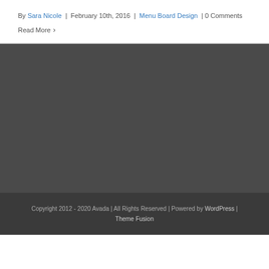By Sara Nicole | February 10th, 2016 | Menu Board Design | 0 Comments
Read More >
Copyright 2012 - 2020 Avada | All Rights Reserved | Powered by WordPress | Theme Fusion